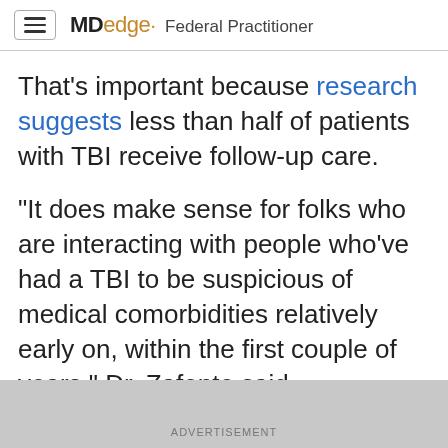MDedge Federal Practitioner
That's important because research suggests less than half of patients with TBI receive follow-up care.
“It does make sense for folks who are interacting with people who’ve had a TBI to be suspicious of medical comorbidities relatively early on, within the first couple of years,” Dr. Zafonte said.
In an invited commentary, Vijay
ADVERTISEMENT